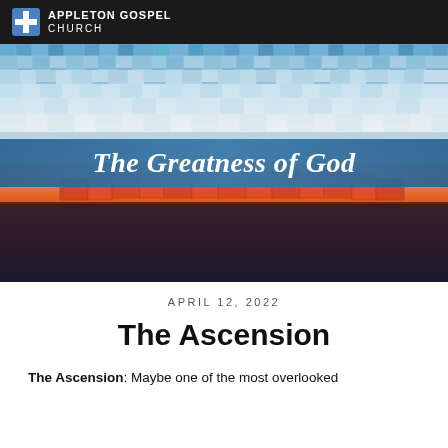APPLETON GOSPEL CHURCH
[Figure (illustration): Hero image with mosaic/pixel art background showing blue sky and red/orange 3D blocks, with a blue semi-transparent banner across the middle reading 'The Greatness of God' in white italic text]
APRIL 12, 2022
The Ascension
The Ascension: Maybe one of the most overlooked